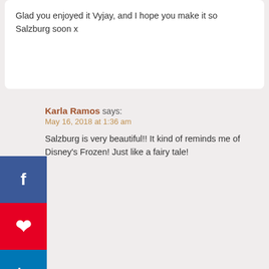Glad you enjoyed it Vyjay, and I hope you make it so Salzburg soon x
Karla Ramos says:
May 16, 2018 at 1:36 am
Salzburg is very beautiful!! It kind of reminds me of Disney's Frozen! Just like a fairy tale!
Medha Verma says:
May 16, 2018 at 8:13 am
Haha, yeah, it is a winter wonderland during Christmas x